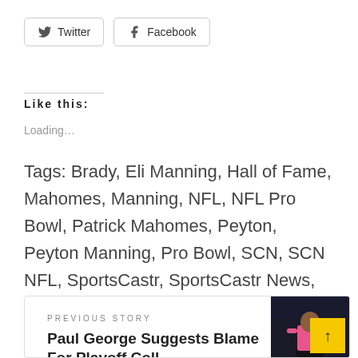[Figure (other): Twitter and Facebook social share buttons]
Like this:
Loading...
Tags: Brady, Eli Manning, Hall of Fame, Mahomes, Manning, NFL, NFL Pro Bowl, Patrick Mahomes, Peyton, Peyton Manning, Pro Bowl, SCN, SCN NFL, SportsCastr, SportsCastr News, Tom Brady
PREVIOUS STORY
Paul George Suggests Blame For Playoff Coll...
[Figure (photo): Photo of a person in a pink shirt against a dark background]